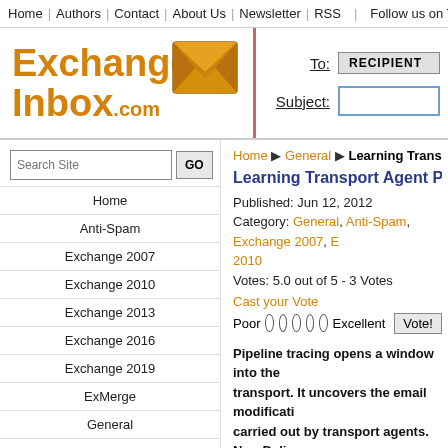Home | Authors | Contact | About Us | Newsletter | RSS | Follow us on Twitt
[Figure (logo): ExchangeInbox.com logo with envelope icon and email compose fields (To: RECIPIENT, Subject:)]
Search Site GO
Home
Anti-Spam
Exchange 2007
Exchange 2010
Exchange 2013
Exchange 2016
Exchange 2019
ExMerge
General
High Availability
Install/Upgrade
Home ▶ General ▶ Learning Transport Agent Pip
Learning Transport Agent Pipeline Tra
Published: Jun 12, 2012
Category: General, Anti-Spam, Exchange 2007, Exchange 2010
Votes: 5.0 out of 5 - 3 Votes
Cast your Vote
Poor ○ ○ ○ ○ ○ Excellent Vote!
Pipeline tracing opens a window into the transport. It uncovers the email modifications carried out by transport agents. Non-Delivery Reports (NDRs) and other Exchange generated emails can also be exposed in this manner. we learn how to use pipeline tracing by e